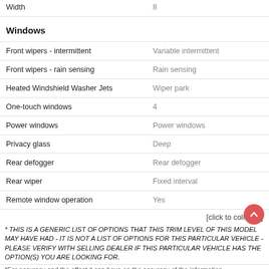| Feature | Value |
| --- | --- |
| Width | 8 |
Windows
| Feature | Value |
| --- | --- |
| Front wipers - intermittent | Variable intermittent |
| Front wipers - rain sensing | Rain sensing |
| Heated Windshield Washer Jets | Wiper park |
| One-touch windows | 4 |
| Power windows | Power windows |
| Privacy glass | Deep |
| Rear defogger | Rear defogger |
| Rear wiper | Fixed interval |
| Remote window operation | Yes |
[click to collapse]
* THIS IS A GENERIC LIST OF OPTIONS THAT THIS TRIM LEVEL OF THIS MODEL MAY HAVE HAD - IT IS NOT A LIST OF OPTIONS FOR THIS PARTICULAR VEHICLE - PLEASE VERIFY WITH SELLING DEALER IF THIS PARTICULAR VEHICLE HAS THE OPTION(S) YOU ARE LOOKING FOR.
*For accuracy and the effect it can have on the accuracy of the information...